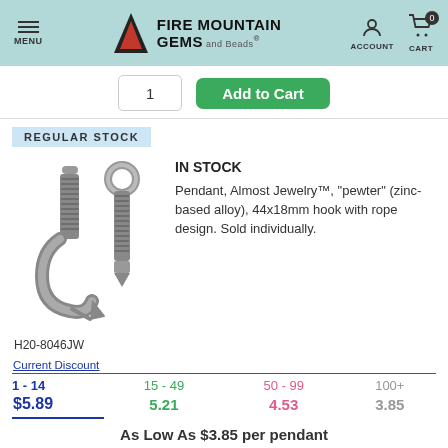Fire Mountain Gems and Beads — MENU | ACCOUNT | CART 0
1  Add to Cart
REGULAR STOCK
IN STOCK
Pendant, Almost Jewelry™, "pewter" (zinc-based alloy), 44x18mm hook with rope design. Sold individually.
[Figure (photo): Two views of a pewter fish hook pendant with rope design, item H20-8046JW]
H20-8046JW
| Current Discount | 15 - 49 | 50 - 99 | 100+ |
| --- | --- | --- | --- |
| 1 - 14 | 15 - 49 | 50 - 99 | 100+ |
| $5.89 | 5.21 | 4.53 | 3.85 |
As Low As $3.85 per pendant
1  Add to Cart